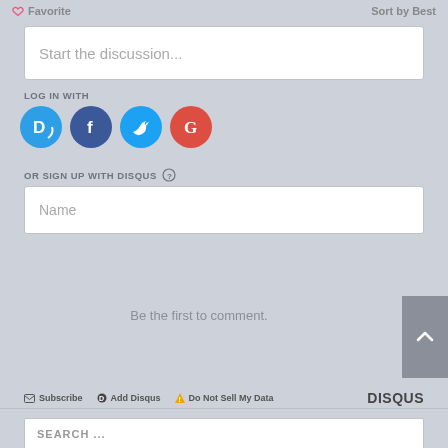Favorite   Sort by Best
Start the discussion...
LOG IN WITH
[Figure (illustration): Social login icons: Disqus (blue D), Facebook (dark blue F), Twitter (light blue bird), Google (red G)]
OR SIGN UP WITH DISQUS ?
Name
Be the first to comment.
Subscribe  Add Disqus  Do Not Sell My Data  DISQUS
SEARCH ...